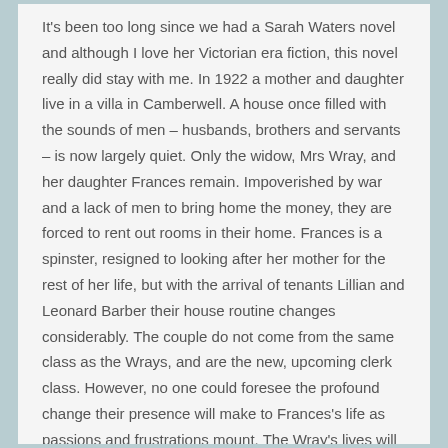It's been too long since we had a Sarah Waters novel and although I love her Victorian era fiction, this novel really did stay with me. In 1922 a mother and daughter live in a villa in Camberwell. A house once filled with the sounds of men – husbands, brothers and servants – is now largely quiet. Only the widow, Mrs Wray, and her daughter Frances remain. Impoverished by war and a lack of men to bring home the money, they are forced to rent out rooms in their home. Frances is a spinster, resigned to looking after her mother for the rest of her life, but with the arrival of tenants Lillian and Leonard Barber their house routine changes considerably. The couple do not come from the same class as the Wrays, and are the new, upcoming clerk class. However, no one could foresee the profound change their presence will make to Frances's life as passions and frustrations mount. The Wray's lives will never be the same again.